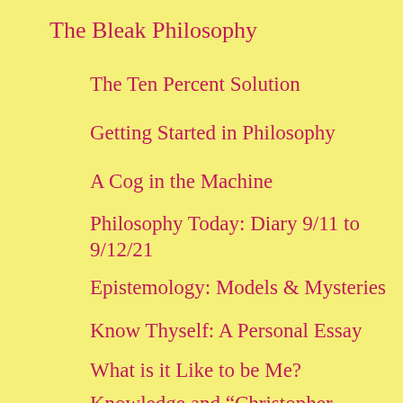The Bleak Philosophy
The Ten Percent Solution
Getting Started in Philosophy
A Cog in the Machine
Philosophy Today: Diary 9/11 to 9/12/21
Epistemology: Models & Mysteries
Know Thyself: A Personal Essay
What is it Like to be Me?
Knowledge and “Christopher Columbus”
Religion, Morality, and the Meaning of Life: Prison Diary